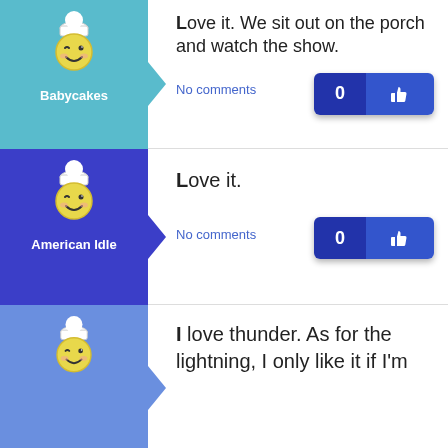[Figure (illustration): User avatar: winking smiley face with chef hat, yellow, on teal background. Username: Babycakes]
Love it. We sit out on the porch and watch the show.
No comments
[Figure (illustration): Like button with 0 count and thumbs up icon]
[Figure (illustration): User avatar: winking smiley face with chef hat, yellow, on blue background. Username: American Idle]
Love it.
No comments
[Figure (illustration): Like button with 0 count and thumbs up icon]
[Figure (illustration): User avatar: winking smiley face with chef hat, yellow, on light blue background (partial row)]
I love thunder. As for the lightning, I only like it if I'm